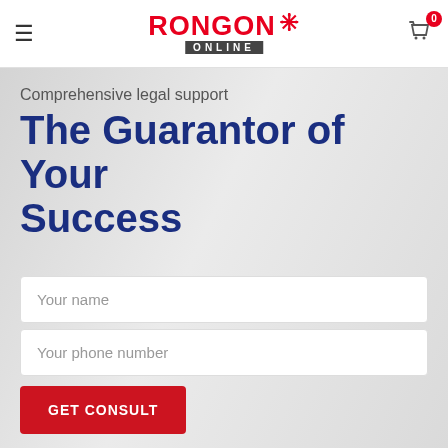[Figure (logo): Rongon Online logo with red text and snowflake icon, 'ONLINE' in dark bar beneath]
Comprehensive legal support
The Guarantor of Your Success
Your name
Your phone number
GET CONSULT